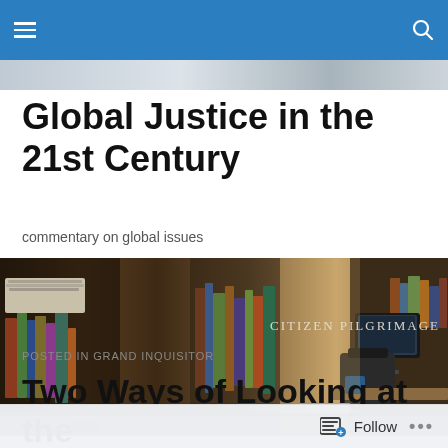Global Justice in the 21st Century
commentary on global issues
[Figure (photo): Interior photo of a cluttered home office/library with bookshelves overflowing with books and papers, a desk with a computer monitor, and the text 'CITIZEN PILGRIMAGE' overlaid on the right side.]
POSTED IN GRAND INQUISITOR
Two Ways of Looking at the